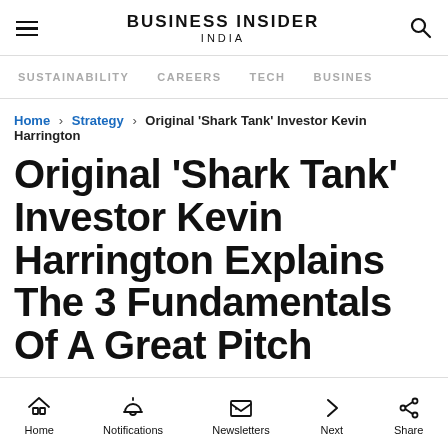BUSINESS INSIDER INDIA
SUSTAINABILITY  CAREERS  TECH  BUSINESS
Home › Strategy › Original 'Shark Tank' Investor Kevin Harrington
Original 'Shark Tank' Investor Kevin Harrington Explains The 3 Fundamentals Of A Great Pitch
Home  Notifications  Newsletters  Next  Share